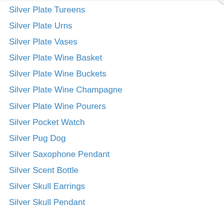Silver Plate Tureens
Silver Plate Urns
Silver Plate Vases
Silver Plate Wine Basket
Silver Plate Wine Buckets
Silver Plate Wine Champagne
Silver Plate Wine Pourers
Silver Pocket Watch
Silver Pug Dog
Silver Saxophone Pendant
Silver Scent Bottle
Silver Skull Earrings
Silver Skull Pendant
Privacy & Cookies: This site uses cookies. By continuing to use this website, you agree to their use. To find out more, including how to control cookies, see here: Cookie Policy
Close and accept